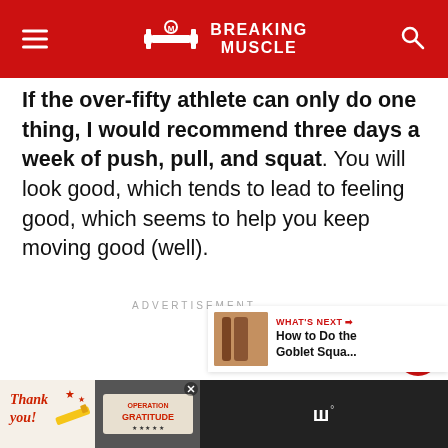Breaking Muscle
If the over-fifty athlete can only do one thing, I would recommend three days a week of push, pull, and squat. You will look good, which tends to lead to feeling good, which seems to help you keep moving good (well).
ADVERTISEMENT
WHAT'S NEXT → How to Do the Goblet Squa...
[Figure (screenshot): Bottom advertisement banner with Operation Gratitude ad and site branding]